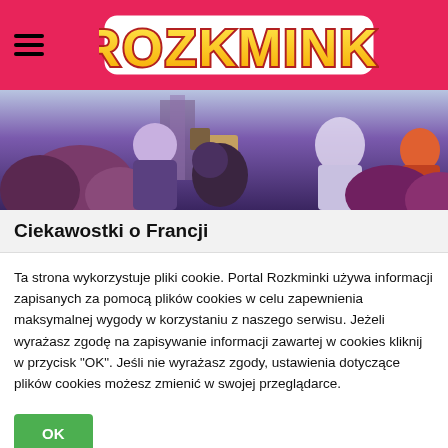ROZKMINKI
[Figure (illustration): Animated illustration showing stylized cartoon characters in a scene with purple and dark blue tones, suggestive of a city setting with characters in the foreground]
Ciekawostki o Francji
Ta strona wykorzystuje pliki cookie. Portal Rozkminki używa informacji zapisanych za pomocą plików cookies w celu zapewnienia maksymalnej wygody w korzystaniu z naszego serwisu. Jeżeli wyrażasz zgodę na zapisywanie informacji zawartej w cookies kliknij w przycisk "OK". Jeśli nie wyrażasz zgody, ustawienia dotyczące plików cookies możesz zmienić w swojej przeglądarce.
OK